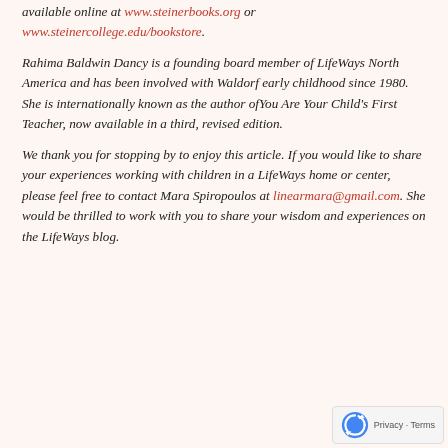available online at www.steinerbooks.org or www.steinercollege.edu/bookstore.
Rahima Baldwin Dancy is a founding board member of LifeWays North America and has been involved with Waldorf early childhood since 1980. She is internationally known as the author of You Are Your Child's First Teacher, now available in a third, revised edition.
We thank you for stopping by to enjoy this article. If you would like to share your experiences working with children in a LifeWays home or center, please feel free to contact Mara Spiropoulos at linearmara@gmail.com. She would be thrilled to work with you to share your wisdom and experiences on the LifeWays blog.